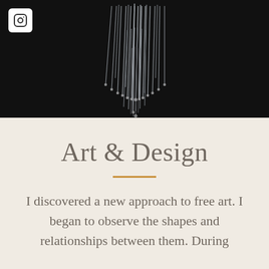Alexandra Likhacheva
[Figure (photo): A glass chandelier with multiple hanging crystal/glass rods arranged in a cascading pattern, photographed against a black background]
Art & Design
I discovered a new approach to free art. I began to observe the shapes and relationships between them. During